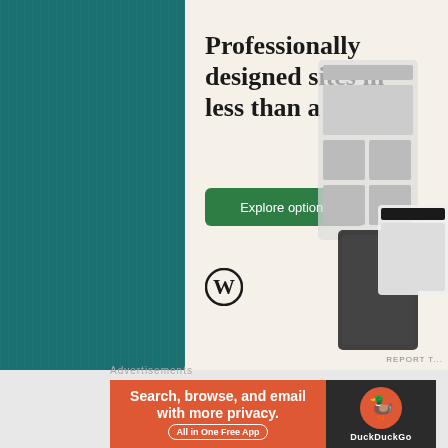[Figure (screenshot): WordPress advertisement with beige background showing 'Professionally designed sites in less than a week', a green 'Explore options' button, WordPress logo, and website mockup screenshots]
Share this:
[Figure (infographic): Social sharing buttons row: Post (Tumblr), Save (Pinterest), Email, Share (LinkedIn), Tweet (Twitter), More]
[Figure (screenshot): DuckDuckGo advertisement: 'Search, browse, and email with more privacy. All in One Free App' on orange background with DuckDuckGo logo on dark background]